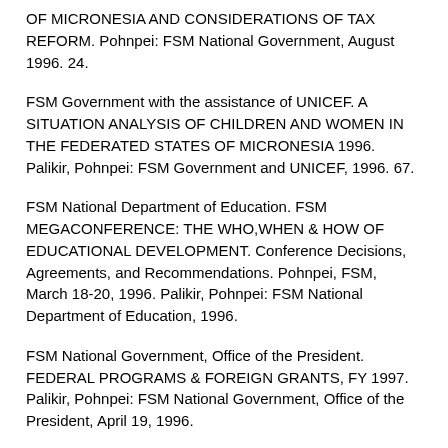OF MICRONESIA AND CONSIDERATIONS OF TAX REFORM. Pohnpei: FSM National Government, August 1996. 24.
FSM Government with the assistance of UNICEF. A SITUATION ANALYSIS OF CHILDREN AND WOMEN IN THE FEDERATED STATES OF MICRONESIA 1996. Palikir, Pohnpei: FSM Government and UNICEF, 1996. 67.
FSM National Department of Education. FSM MEGACONFERENCE: THE WHO,WHEN & HOW OF EDUCATIONAL DEVELOPMENT. Conference Decisions, Agreements, and Recommendations. Pohnpei, FSM, March 18-20, 1996. Palikir, Pohnpei: FSM National Department of Education, 1996.
FSM National Government, Office of the President. FEDERAL PROGRAMS & FOREIGN GRANTS, FY 1997. Palikir, Pohnpei: FSM National Government, Office of the President, April 19, 1996.
FSM Office of Planning & Statistics. NINTH ANNUAL...